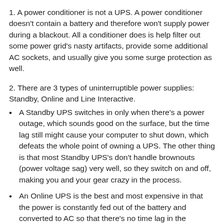1. A power conditioner is not a UPS. A power conditioner doesn't contain a battery and therefore won't supply power during a blackout. All a conditioner does is help filter out some power grid's nasty artifacts, provide some additional AC sockets, and usually give you some surge protection as well.
2. There are 3 types of uninterruptible power supplies: Standby, Online and Line Interactive.
A Standby UPS switches in only when there's a power outage, which sounds good on the surface, but the time lag still might cause your computer to shut down, which defeats the whole point of owning a UPS. The other thing is that most Standby UPS's don't handle brownouts (power voltage sag) very well, so they switch on and off, making you and your gear crazy in the process.
An Online UPS is the best and most expensive in that the power is constantly fed out of the battery and converted to AC so that there's no time lag in the